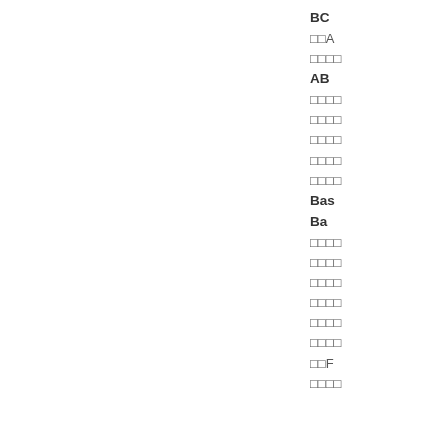BC…
□□A…
□□□□…
AB…
□□□□…
□□□□…
□□□□…
□□□□…
□□□□…
Bas…
Ba…
□□□□…
□□□□…
□□□□…
□□□□…
□□□□…
□□□□…
□□F…
□□□□…